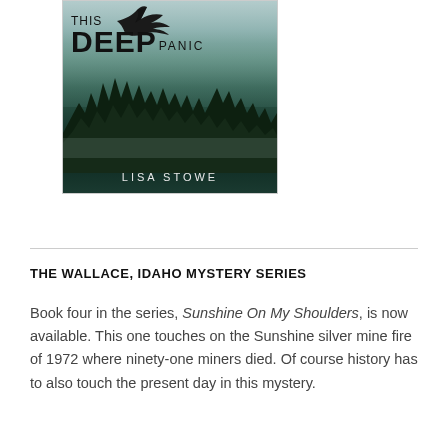[Figure (illustration): Book cover for 'This Deep Panic' by Lisa Stowe. Dark moody cover with forest of pine trees, misty sky, and a crow/raven silhouette at top. Title 'THIS DEEP PANIC' in bold black text, author name 'LISA STOWE' at bottom in spaced white letters.]
THE WALLACE, IDAHO MYSTERY SERIES
Book four in the series, Sunshine On My Shoulders, is now available. This one touches on the Sunshine silver mine fire of 1972 where ninety-one miners died. Of course history has to also touch the present day in this mystery.